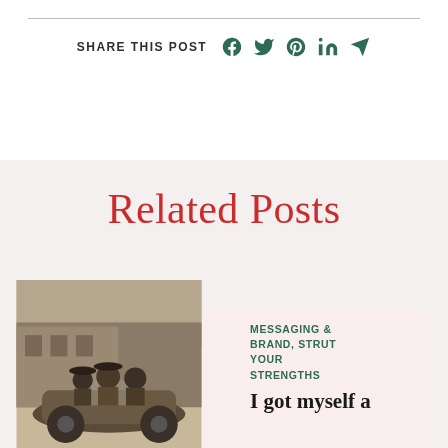SHARE THIS POST
[Figure (infographic): Social media share icons: Facebook, Twitter, Pinterest, LinkedIn, Send/Email]
Related Posts
[Figure (photo): Black and white vintage photograph of people riding in an early automobile on a street]
MESSAGING & BRAND, STRUT YOUR STRENGTHS
I got myself a